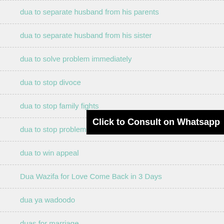dua to separate husband from his parents
dua to separate husband from his sister
dua to solve problem immediately
dua to stop divoce
dua to stop family fights
dua to stop problems
dua to win appeal
Dua Wazifa for Love Come Back in 3 Days
dua ya wadoodo
duas for marriage
[Figure (infographic): Black banner overlay with white bold text reading 'Click to Consult on Whatsapp']